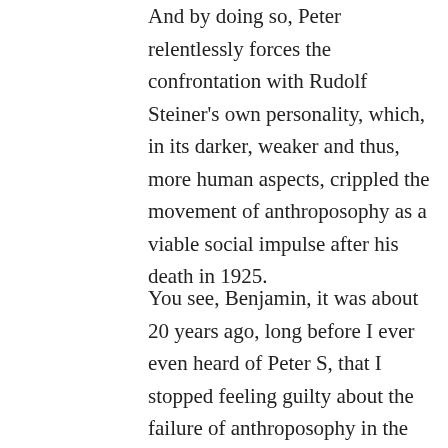And by doing so, Peter relentlessly forces the confrontation with Rudolf Steiner's own personality, which, in its darker, weaker and thus, more human aspects, crippled the movement of anthroposophy as a viable social impulse after his death in 1925.
You see, Benjamin, it was about 20 years ago, long before I ever even heard of Peter S, that I stopped feeling guilty about the failure of anthroposophy in the world. I not only stopped blaming myself, but more importantly, I stopped blaming all the other followers of Rudolf Steiner, no matter what their stream or karma. I began to realize that the lion's share of the blame had to be